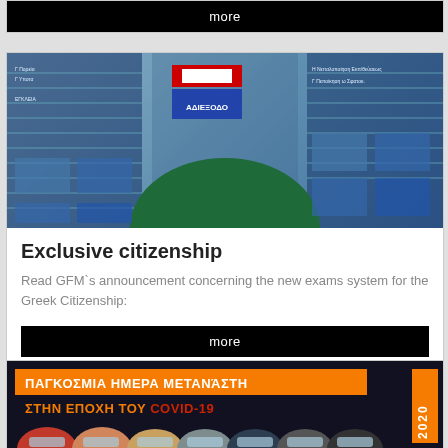[Figure (photo): Partial view of previous article card showing 'more' button at bottom]
more
[Figure (photo): Person with head down on desk surrounded by overlaid Greek documents, road sign 'ΑΔΙΕΞΟΔΟ' (dead end), and other images on blue lined background]
Exclusive citizenship
Read GFM`s announcement concerning the new exams system for the Greek Citizenship:
more
[Figure (photo): Banner image with orange text 'ΠΑΓΚΟΣΜΙΑ ΗΜΕΡΑ ΜΕΤΑΝΆΣΤΗ ΣΤΗΝ ΕΠΟΧΗ ΤΟΥ COVID-19' and '2020' tag, showing group of masked people below]